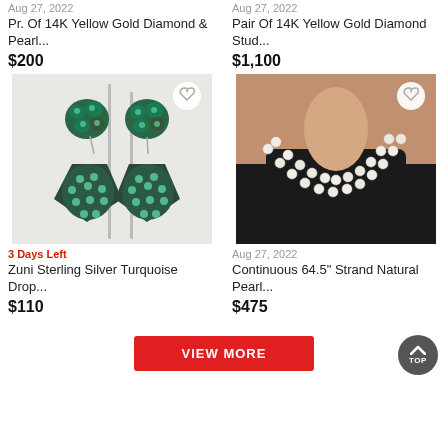Aug 27, 2022
Pr. Of 14K Yellow Gold Diamond & Pearl...
$200
Aug 27, 2022
Pair Of 14K Yellow Gold Diamond Stud...
$1,100
[Figure (photo): Zuni Sterling Silver Turquoise drop earrings with dark metal and turquoise stones, displayed on earring stand]
3 Days Left
Zuni Sterling Silver Turquoise Drop...
$110
[Figure (photo): Woman wearing a double-strand continuous natural pearl necklace against a black top]
Aug 27, 2022
Continuous 64.5" Strand Natural Pearl...
$475
VIEW MORE